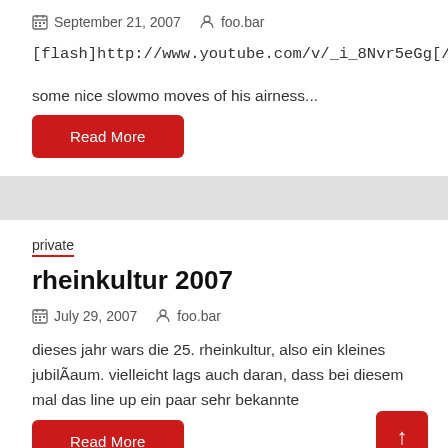September 21, 2007   foo.bar
[flash]http://www.youtube.com/v/_i_8Nvr5eGg[/flash]
some nice slowmo moves of his airness...
Read More
private
rheinkultur 2007
July 29, 2007   foo.bar
dieses jahr wars die 25. rheinkultur, also ein kleines jubilÃaum. vielleicht lags auch daran, dass bei diesem mal das line up ein paar sehr bekannte
Read More